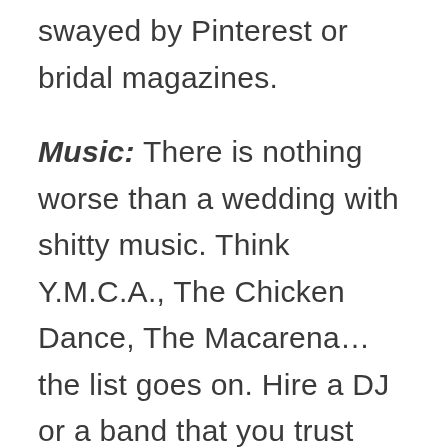swayed by Pinterest or bridal magazines. Music: There is nothing worse than a wedding with shitty music. Think Y.M.C.A., The Chicken Dance, The Macarena…the list goes on. Hire a DJ or a band that you trust and ask to view some video footage of weddings they have done. The D.J. worked with